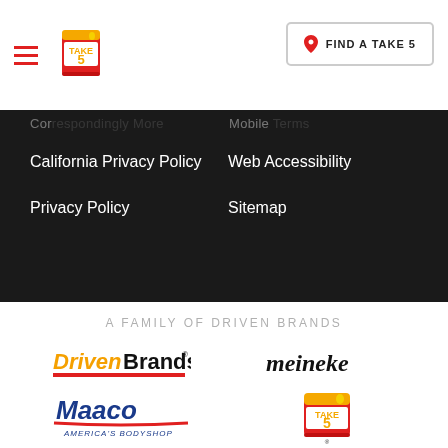[Figure (logo): Take 5 Oil Change logo - red can with yellow text]
FIND A TAKE 5
California Privacy Policy
Web Accessibility
Privacy Policy
Sitemap
A FAMILY OF DRIVEN BRANDS
[Figure (logo): DrivenBrands logo - orange italic Driven, bold black Brands, red underline]
[Figure (logo): meineke logo - bold black italic text]
[Figure (logo): Maaco America's Bodyshop logo - blue stylized text with red underline]
[Figure (logo): Take 5 Oil Change small logo]
[Figure (logo): CARSTAR logo - bold black text with red period]
[Figure (logo): abra logo - lowercase gray text with blue swoosh element]